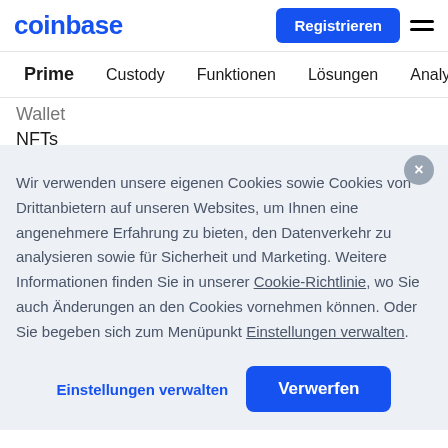coinbase
Prime  Custody  Funktionen  Lösungen  Analyse
Wallet
NFTs
Wir verwenden unsere eigenen Cookies sowie Cookies von Drittanbietern auf unseren Websites, um Ihnen eine angenehmere Erfahrung zu bieten, den Datenverkehr zu analysieren sowie für Sicherheit und Marketing. Weitere Informationen finden Sie in unserer Cookie-Richtlinie, wo Sie auch Änderungen an den Cookies vornehmen können. Oder Sie begeben sich zum Menüpunkt Einstellungen verwalten.
Einstellungen verwalten  Verwerfen